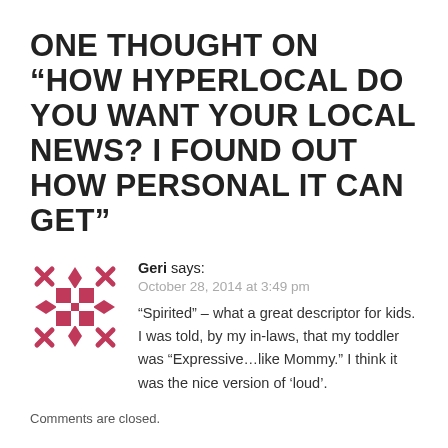ONE THOUGHT ON “HOW HYPERLOCAL DO YOU WANT YOUR LOCAL NEWS? I FOUND OUT HOW PERSONAL IT CAN GET”
[Figure (illustration): Pink decorative avatar icon with geometric cross and diamond pattern]
Geri says: October 28, 2014 at 3:49 pm “Spirited” – what a great descriptor for kids. I was told, by my in-laws, that my toddler was “Expressive…like Mommy.” I think it was the nice version of ‘loud’.
Comments are closed.